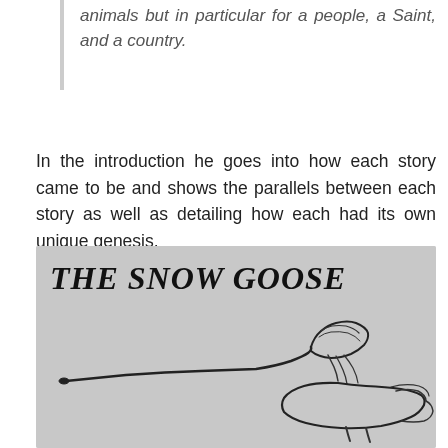animals but in particular for a people, a Saint, and a country.
In the introduction he goes into how each story came to be and shows the parallels between each story as well as detailing how each had its own unique genesis.
[Figure (illustration): A photograph of a book page showing the title 'THE SNOW GOOSE' in bold italic serif font with a line drawing illustration of a snow goose in flight, head tucked down, wings spread, rendered in black ink on a grey/off-white page.]